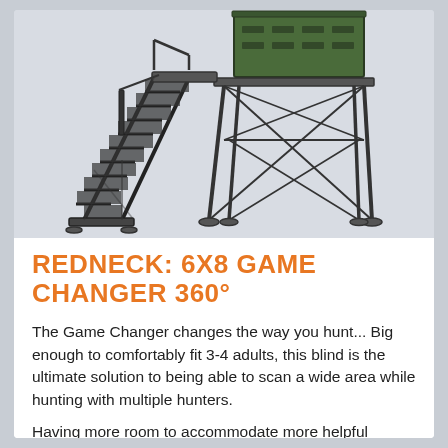[Figure (illustration): Illustration of a Redneck 6x8 Game Changer 360° hunting blind tower stand with a steep staircase/ladder on the left side, metal frame tower structure, and a green enclosed blind box on top. Dark gray/black line art on a light gray background.]
REDNECK: 6X8 GAME CHANGER 360°
The Game Changer changes the way you hunt... Big enough to comfortably fit 3-4 adults, this blind is the ultimate solution to being able to scan a wide area while hunting with multiple hunters.
Having more room to accommodate more helpful